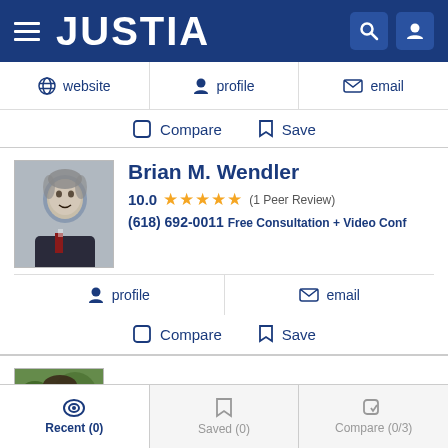JUSTIA
website | profile | email
Compare  Save
Brian M. Wendler
10.0 ★★★★★ (1 Peer Review)
(618) 692-0011 Free Consultation + Video Conf
profile  email
Compare  Save
John D Beckham
(618) 316-7333 Free Consultation
Recent (0)  Saved (0)  Compare (0/3)